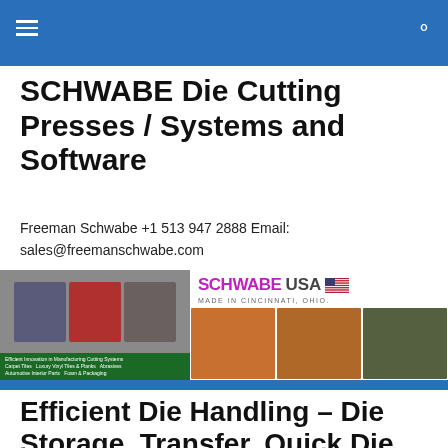Navigation bar with hamburger menu and search icon
SCHWABE Die Cutting Presses / Systems and Software
Freeman Schwabe +1 513 947 2888 Email: sales@freemanschwabe.com
[Figure (photo): Banner image showing Schwabe die cutting machines on the left with a green caption bar, and on the right the SCHWABE USA logo with US flag, 'Made in Cincinnati, Ohio.' text, and a grid of three product photos showing die cutting equipment and materials.]
Efficient Die Handling – Die Storage, Transfer, Quick Die